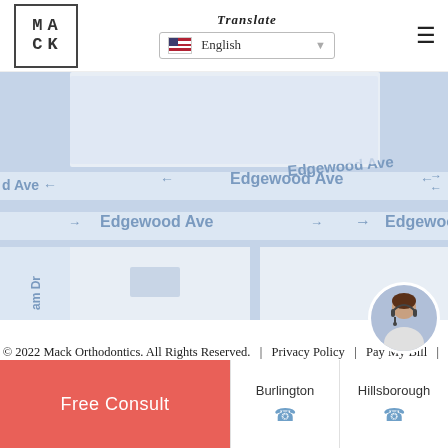[Figure (logo): MACK Orthodontics logo — square border with MA/CK text]
Translate
English (language selector dropdown with US flag)
[Figure (map): Street map showing Edgewood Ave and surrounding roads]
© 2022 Mack Orthodontics. All Rights Reserved.  |  Privacy Policy  |  Pay My Bill  |  Site by Neon Canvas
Facebook  |  Instagram
Free Consult
Burlington
Hillsborough